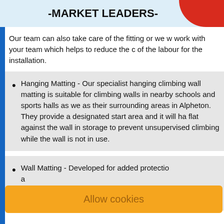[Figure (infographic): Top banner with text '-MARKET LEADERS-' in bold on a light blue background with a red rounded shape on the right.]
Our team can also take care of the fitting or we w work with your team which helps to reduce the c of the labour for the installation.
Hanging Matting - Our specialist hanging climbing wall matting is suitable for climbing walls in nearby schools and sports halls as we as their surrounding areas in Alpheton. They provide a designated start area and it will ha flat against the wall in storage to prevent unsupervised climbing while the wall is not in use.
Wall Matting - Developed for added protectio climbing wall matting can be used as a
Allow cookies